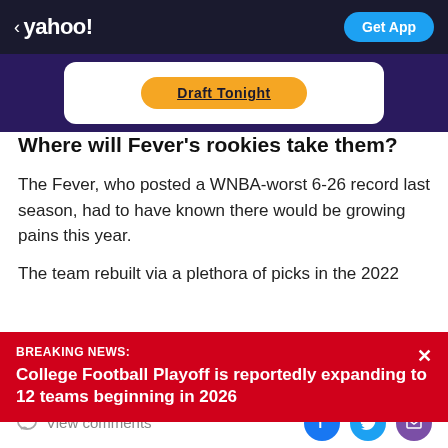< yahoo!   Get App
[Figure (other): Orange button ad card on dark purple background, button reads 'Draft Tonight']
Where will Fever's rookies take them?
The Fever, who posted a WNBA-worst 6-26 record last season, had to have known there would be growing pains this year.
The team rebuilt via a plethora of picks in the 2022
BREAKING NEWS: College Football Playoff is reportedly expanding to 12 teams beginning in 2026
View comments